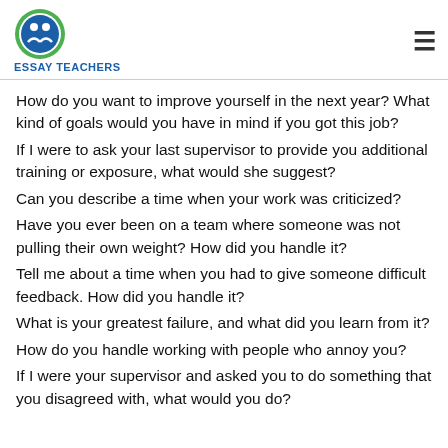Essay Teachers
How do you want to improve yourself in the next year? What kind of goals would you have in mind if you got this job?
If I were to ask your last supervisor to provide you additional training or exposure, what would she suggest?
Can you describe a time when your work was criticized?
Have you ever been on a team where someone was not pulling their own weight? How did you handle it?
Tell me about a time when you had to give someone difficult feedback. How did you handle it?
What is your greatest failure, and what did you learn from it?
How do you handle working with people who annoy you?
If I were your supervisor and asked you to do something that you disagreed with, what would you do?